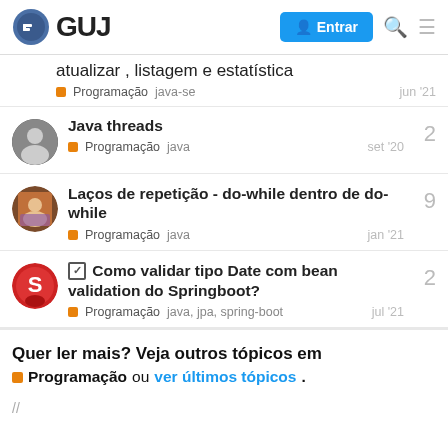GUJ — Entrar
atualizar , listagem e estatística — Programação  java-se  jun '21
Java threads — Programação  java  set '20  2
Laços de repetição - do-while dentro de do-while — Programação  java  jan '21  9
☑ Como validar tipo Date com bean validation do Springboot? — Programação  java, jpa, spring-boot  jul '21  2
Quer ler mais? Veja outros tópicos em Programação ou ver últimos tópicos.
//